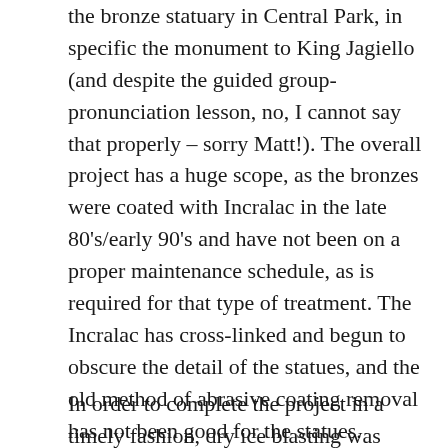the bronze statuary in Central Park, in specific the monument to King Jagiello (and despite the guided group-pronunciation lesson, no, I cannot say that properly – sorry Matt!). The overall project has a huge scope, as the bronzes were coated with Incralac in the late 80's/early 90's and have not been on a proper maintenance schedule, as is required for that type of treatment. The Incralac has cross-linked and begun to obscure the detail of the statues, and the old method of abrasive coating removal has not been good for the statues.
In order to complete the project in a timely fashion, dry ice blasting was determined to be